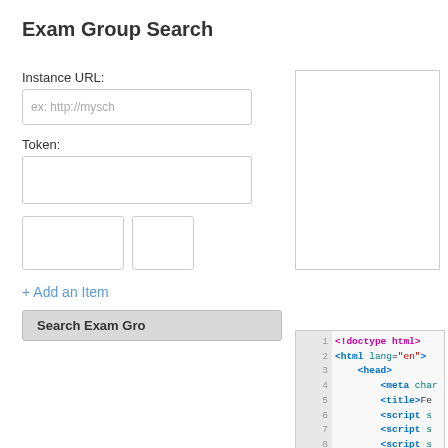Exam Group Search
Instance URL:
ex: http://mysch
Token:
+ Add an Item
Search Exam Gro
[Figure (screenshot): Code editor panel showing HTML source code lines 1-11: <!doctype html>, <html lang="en">, <head>, <meta char..., <title>Fe..., <script s... (lines 6-8), <script> (line 9), $(func (line 10), $( (line 11)]